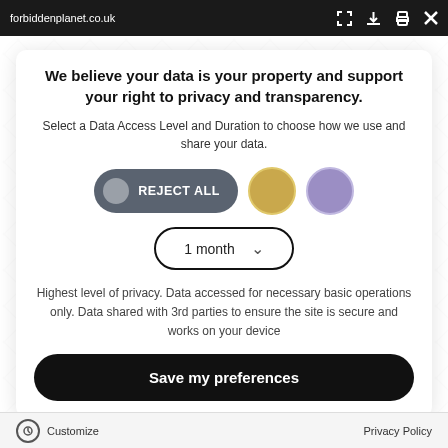forbiddenplanet.co.uk
We believe your data is your property and support your right to privacy and transparency.
Select a Data Access Level and Duration to choose how we use and share your data.
[Figure (screenshot): Privacy consent dialog with REJECT ALL button (dark grey pill with grey circle icon), a gold circle button, a purple circle button, and a '1 month' dropdown selector with chevron.]
Highest level of privacy. Data accessed for necessary basic operations only. Data shared with 3rd parties to ensure the site is secure and works on your device
Save my preferences
Customize   Privacy Policy